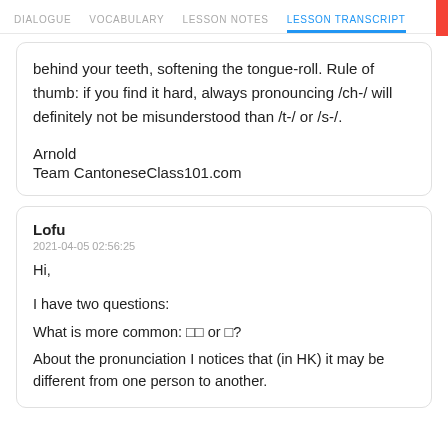DIALOGUE  VOCABULARY  LESSON NOTES  LESSON TRANSCRIPT  C
behind your teeth, softening the tongue-roll. Rule of thumb: if you find it hard, always pronouncing /ch-/ will definitely not be misunderstood than /t-/ or /s-/.
Arnold
Team CantoneseClass101.com
Lofu
2021-04-05 02:56:25
Hi,
I have two questions:
What is more common: 䀹䀹 or 䀹?
About the pronunciation I notices that (in HK) it may be different from one person to another.